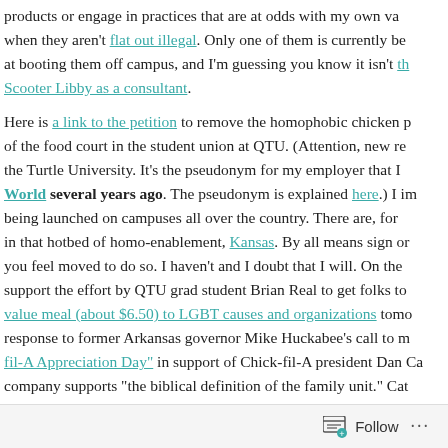products or engage in practices that are at odds with my own values, when they aren't flat out illegal. Only one of them is currently be... at booting them off campus, and I'm guessing you know it isn't th... Scooter Libby as a consultant.
Here is a link to the petition to remove the homophobic chicken... of the food court in the student union at QTU. (Attention, new re... the Turtle University. It's the pseudonym for my employer that I World several years ago. The pseudonym is explained here.) I im... being launched on campuses all over the country. There are, for... in that hotbed of homo-enablement, Kansas. By all means sign or... you feel moved to do so. I haven't and I doubt that I will. On the... support the effort by QTU grad student Brian Real to get folks to... value meal (about $6.50) to LGBT causes and organizations tomo... response to former Arkansas governor Mike Huckabee's call to m... fil-A Appreciation Day" in support of Chick-fil-A president Dan Ca... company supports "the biblical definition of the family unit." Cat... June, "I think we are inviting God's judgment on our nation whe... say, 'We know better than you as to what constitutes a marriage.
Follow ...